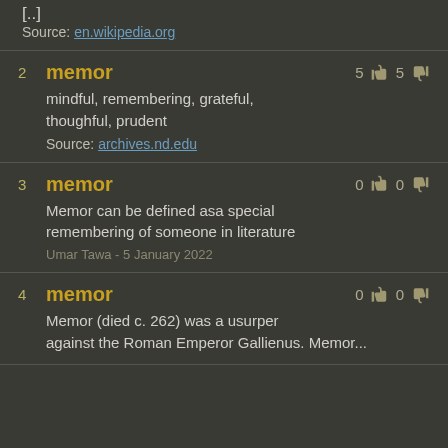[..]
Source: en.wikipedia.org
2 memor — 5 up 5 down
mindful, remembering, grateful, thoughful, prudent
Source: archives.nd.edu
3 memor — 0 up 0 down
Memor can be defined asa special remembering of someone in literature
Umar Tawa - 5 January 2022
4 memor — 0 up 0 down
Memor (died c. 262) was a usurper against the Roman Emperor Gallienus. Memor...